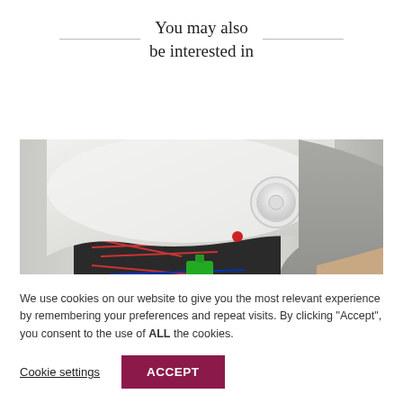You may also be interested in
[Figure (photo): Close-up photo of a white electric water heater being installed or serviced, showing internal wiring and a person's hand/arm in a grey sleeve adjusting or connecting the unit.]
We use cookies on our website to give you the most relevant experience by remembering your preferences and repeat visits. By clicking “Accept”, you consent to the use of ALL the cookies.
Cookie settings
ACCEPT